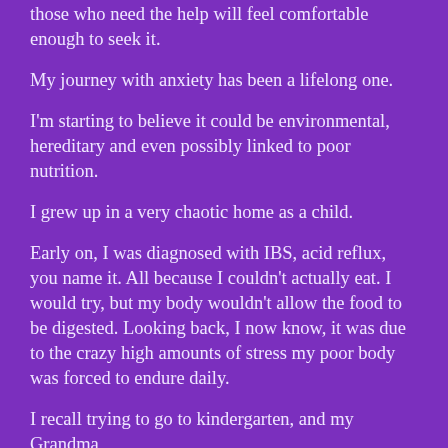those who need the help will feel comfortable enough to seek it.
My journey with anxiety has been a lifelong one.
I'm starting to believe it could be environmental, hereditary and even possibly linked to poor nutrition.
I grew up in a very chaotic home as a child.
Early on, I was diagnosed with IBS, acid reflux, you name it. All because I couldn't actually eat. I would try, but my body wouldn't allow the food to be digested. Looking back, I now know, it was due to the crazy high amounts of stress my poor body was forced to endure daily.
I recall trying to go to kindergarten, and my Grandma